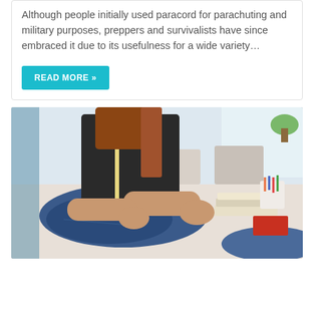Although people initially used paracord for parachuting and military purposes, preppers and survivalists have since embraced it due to its usefulness for a wide variety…
READ MORE »
[Figure (photo): A woman with long brown hair wearing a dark t-shirt with a measuring tape around her neck, working with denim fabric at a table in a sewing/design studio. Pencils in a cup and notebooks are visible on the desk.]